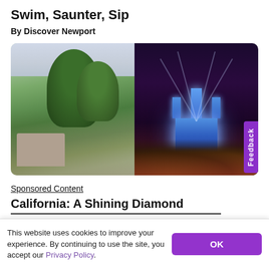Swim, Saunter, Sip
By Discover Newport
[Figure (photo): Two side-by-side photos: left shows a daytime aerial view of green trees and a historic stone building; right shows a blue-lit castle (Disneyland-style) at night with light beams and autumn trees in foreground]
Feedback
Sponsored Content
California: A Shining Diamond
This website uses cookies to improve your experience. By continuing to use the site, you accept our Privacy Policy.